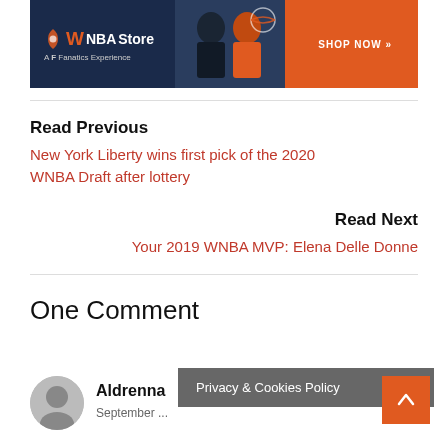[Figure (infographic): WNBA Store banner advertisement with Fanatics Experience branding, dark navy left side with logo, orange right side with basketball player apparel, and orange SHOP NOW button]
Read Previous
New York Liberty wins first pick of the 2020 WNBA Draft after lottery
Read Next
Your 2019 WNBA MVP: Elena Delle Donne
One Comment
[Figure (photo): Gray circular user avatar icon]
Aldrenna
September ...
Privacy & Cookies Policy